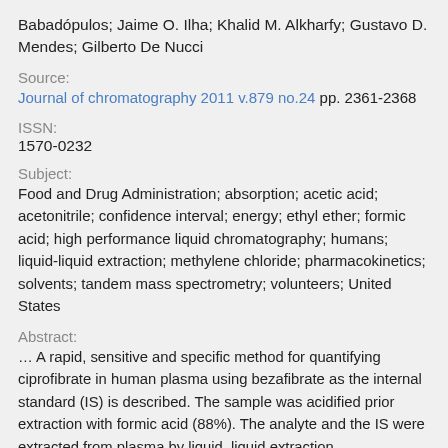Babadópulos; Jaime O. Ilha; Khalid M. Alkharfy; Gustavo D. Mendes; Gilberto De Nucci
Source:
Journal of chromatography 2011 v.879 no.24 pp. 2361-2368
ISSN:
1570-0232
Subject:
Food and Drug Administration; absorption; acetic acid; acetonitrile; confidence interval; energy; ethyl ether; formic acid; high performance liquid chromatography; humans; liquid-liquid extraction; methylene chloride; pharmacokinetics; solvents; tandem mass spectrometry; volunteers; United States
Abstract:
… A rapid, sensitive and specific method for quantifying ciprofibrate in human plasma using bezafibrate as the internal standard (IS) is described. The sample was acidified prior extraction with formic acid (88%). The analyte and the IS were extracted from plasma by liquid–liquid extraction